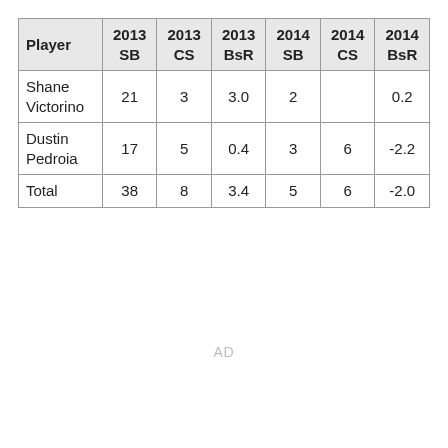| ['Player', '2013 SB', '2013 CS', '2013 BsR', '2014 SB', '2014 CS', '2014 BsR'] |
| --- |
| Shane Victorino | 21 | 3 | 3.0 | 2 |  | 0.2 |
| Dustin Pedroia | 17 | 5 | 0.4 | 3 | 6 | -2.2 |
| Total | 38 | 8 | 3.4 | 5 | 6 | -2.0 |
AD